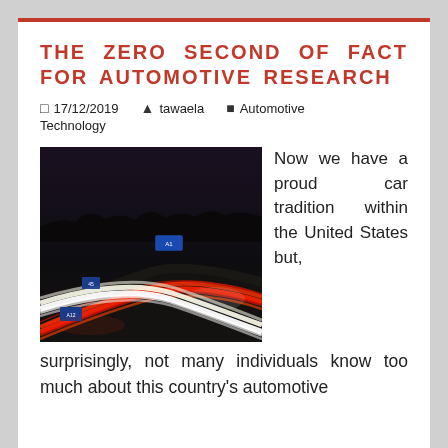THE ZERO SECOND OF FACT FOR AUTOMOTIVE RESEARCH
17/12/2019   tawaela   Automotive Technology
[Figure (photo): Night time long exposure photo of highway with red and white light trails from car headlights and tail lights curving through the frame]
Now we have a proud car tradition within the United States but, surprisingly, not many individuals know too much about this country's automotive